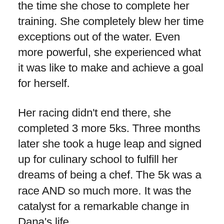the time she chose to complete her training. She completely blew her time exceptions out of the water. Even more powerful, she experienced what it was like to make and achieve a goal for herself.
Her racing didn't end there, she completed 3 more 5ks. Three months later she took a huge leap and signed up for culinary school to fulfill her dreams of being a chef. The 5k was a race AND so much more. It was the catalyst for a remarkable change in Dana's life.
Want to start creating and achieving big things in your life? Sign up for a race and commit to investing in yourself.  Show up for yourself every day, knowing you are worth it.